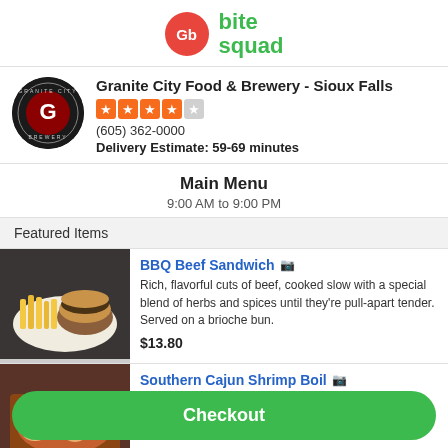[Figure (logo): Gb red circle logo and Bite Squad green text logo]
Granite City Food & Brewery - Sioux Falls
(605) 362-0000
Delivery Estimate: 59-69 minutes
Main Menu
9:00 AM to 9:00 PM
Featured Items
[Figure (photo): BBQ Beef Sandwich with fries on a plate]
BBQ Beef Sandwich
Rich, flavorful cuts of beef, cooked slow with a special blend of herbs and spices until they're pull-apart tender. Served on a brioche bun.
$13.80
[Figure (photo): Southern Cajun Shrimp Boil dish]
Southern Cajun Shrimp Boil
Tender, succulent boiled Shrimp and fresh Red...
Checkout